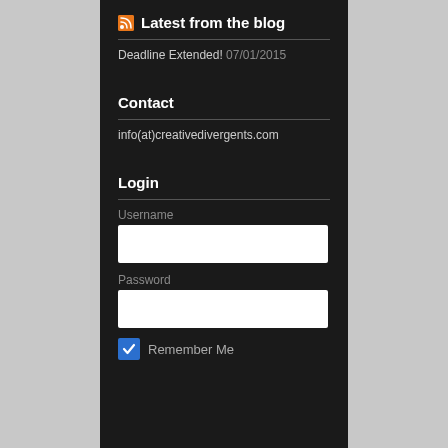Latest from the blog
Deadline Extended! 07/01/2015
Contact
info(at)creativedivergents.com
Login
Username
Password
Remember Me